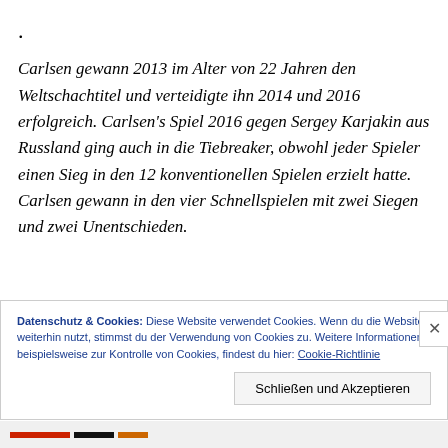.
Carlsen gewann 2013 im Alter von 22 Jahren den Weltschachtitel und verteidigte ihn 2014 und 2016 erfolgreich. Carlsen's Spiel 2016 gegen Sergey Karjakin aus Russland ging auch in die Tiebreaker, obwohl jeder Spieler einen Sieg in den 12 konventionellen Spielen erzielt hatte. Carlsen gewann in den vier Schnellspielen mit zwei Siegen und zwei Unentschieden.
Datenschutz & Cookies: Diese Website verwendet Cookies. Wenn du die Website weiterhin nutzt, stimmst du der Verwendung von Cookies zu. Weitere Informationen, beispielsweise zur Kontrolle von Cookies, findest du hier: Cookie-Richtlinie
Schließen und Akzeptieren